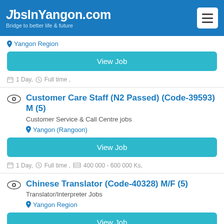JobsInYangon.com — Bridge to better life & future
Yangon Region
View Job
1 Day, Full time ,
Customer Care Staff (N2 Passed) (Code-39593) M  (5)
Customer Service & Call Centre jobs
Yangon (Rangoon)
View Job
1 Day, Full time , 400 000 - 600 000 Ks,
Chinese Translator (Code-40328) M/F  (5)
Translator/Interpreter Jobs
Yangon Region
View Job
1 Day, Full time ,